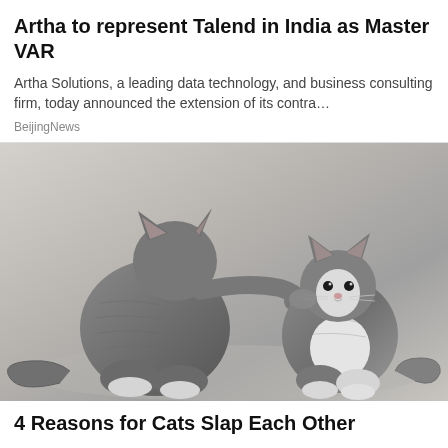Artha to represent Talend in India as Master VAR
Artha Solutions, a leading data technology, and business consulting firm, today announced the extension of its contra…
BeijingNews
[Figure (photo): Two grey cats facing each other — one larger cat reaching out with its paw to slap the face of a smaller grey and white cat, both sitting on a light grey floor against a neutral background.]
4 Reasons for Cats Slap Each Other